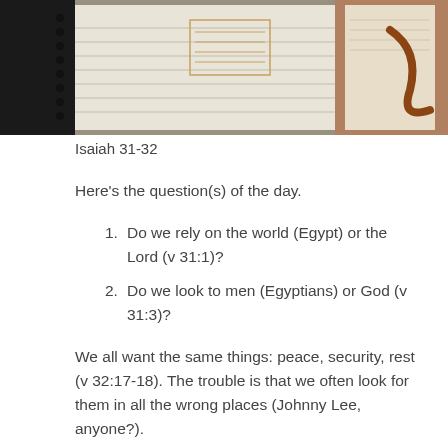[Figure (photo): Photo of open notebooks and a Bible or book with handwritten notes and a brown/auburn object (possibly a Bible with a leather cover) visible on the right side.]
Isaiah 31-32
Here’s the question(s) of the day.
1. Do we rely on the world (Egypt) or the Lord (v 31:1)?
2. Do we look to men (Egyptians) or God (v 31:3)?
We all want the same things: peace, security, rest (v 32:17-18). The trouble is that we often look for them in all the wrong places (Johnny Lee, anyone?).
Isaiah was speaking to people who looked at appearances – many chariots and strong horsemen –